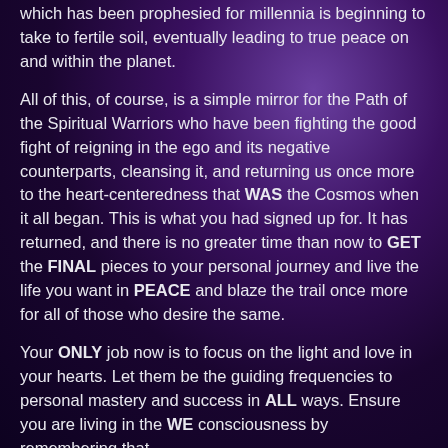which has been prophesied for millennia is beginning to take to fertile soil, eventually leading to true peace on and within the planet.
All of this, of course, is a simple mirror for the Path of the Spiritual Warriors who have been fighting the good fight of reigning in the ego and its negative counterparts, cleansing it, and returning us once more to the heart-centeredness that WAS the Cosmos when it all began. This is what you had signed up for. It has returned, and there is no greater time than now to GET the FINAL pieces to your personal journey and live the life you want in PEACE and blaze the trail once more for all of those who desire the same.
Your ONLY job now is to focus on the light and love in your hearts. Let them be the guiding frequencies to personal mastery and success in ALL ways. Ensure you are living in the WE consciousness by remembering that